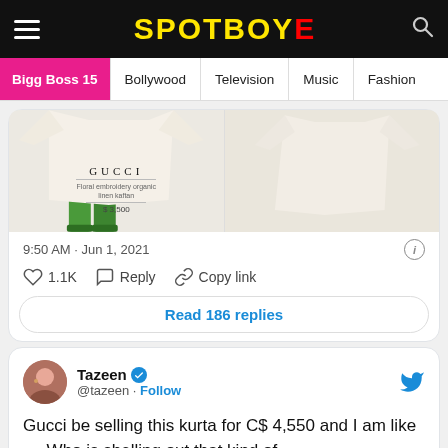SPOTBOYE
Bigg Boss 15 | Bollywood | Television | Music | Fashion
[Figure (screenshot): Gucci product image showing a floral embroidery organic linen kaftan priced at $3,500, split into two panels]
9:50 AM · Jun 1, 2021
1.1K   Reply   Copy link
Read 186 replies
Tazeen @tazeen · Follow
Gucci be selling this kurta for C$ 4,550 and I am like .... Who is shelling out that kind of